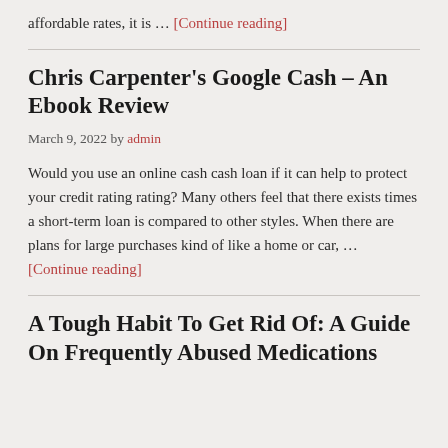affordable rates, it is … [Continue reading]
Chris Carpenter's Google Cash – An Ebook Review
March 9, 2022 by admin
Would you use an online cash cash loan if it can help to protect your credit rating rating? Many others feel that there exists times a short-term loan is compared to other styles. When there are plans for large purchases kind of like a home or car, … [Continue reading]
A Tough Habit To Get Rid Of: A Guide On Frequently Abused Medications